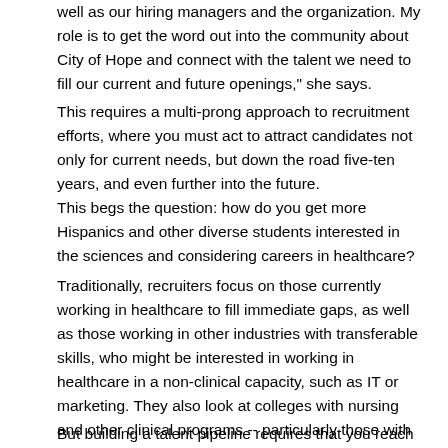well as our hiring managers and the organization. My role is to get the word out into the community about City of Hope and connect with the talent we need to fill our current and future openings," she says.
This requires a multi-prong approach to recruitment efforts, where you must act to attract candidates not only for current needs, but down the road five-ten years, and even further into the future.
This begs the question: how do you get more Hispanics and other diverse students interested in the sciences and considering careers in healthcare?
Traditionally, recruiters focus on those currently working in healthcare to fill immediate gaps, as well as those working in other industries with transferable skills, who might be interested in working in healthcare in a non-clinical capacity, such as IT or marketing. They also look at colleges with nursing and other clinical programs -- particularly those with high concentrations of Hispanics and other diverse students -- where they can conduct outreach efforts, build partnerships and establish a presence.
But building a talent pipeline requires that you reach students well